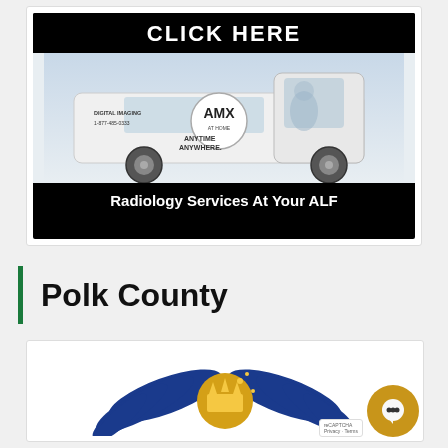[Figure (photo): AMX mobile radiology van advertisement with 'CLICK HERE' header and 'Radiology Services At Your ALF' footer on black background. Van is white with AMX logo and text 'Anytime Anywhere'.]
Polk County
[Figure (logo): Logo with blue and gold wings and crown emblem, partially visible at bottom of page.]